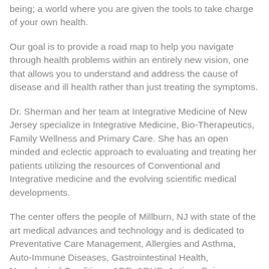being; a world where you are given the tools to take charge of your own health.
Our goal is to provide a road map to help you navigate through health problems within an entirely new vision, one that allows you to understand and address the cause of disease and ill health rather than just treating the symptoms.
Dr. Sherman and her team at Integrative Medicine of New Jersey specialize in Integrative Medicine, Bio-Therapeutics, Family Wellness and Primary Care. She has an open minded and eclectic approach to evaluating and treating her patients utilizing the resources of Conventional and Integrative medicine and the evolving scientific medical developments.
The center offers the people of Millburn, NJ with state of the art medical advances and technology and is dedicated to Preventative Care Management, Allergies and Asthma, Auto-Immune Diseases, Gastrointestinal Health, Neurological Conditions, ADD, ADHD, Autism, Pain Management, Endocrine Disorders, Anti-Aging